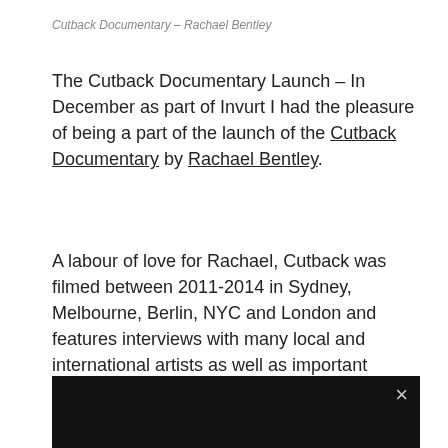Cutback Documentary – Rachael Bentley
The Cutback Documentary Launch – In December as part of Invurt I had the pleasure of being a part of the launch of the Cutback Documentary by Rachael Bentley.
A labour of love for Rachael, Cutback was filmed between 2011-2014 in Sydney, Melbourne, Berlin, NYC and London and features interviews with many local and international artists as well as important personalities from the local and international art community such as Meres from 5 Pointz and Sandra Powell and Andrew King (renowned street art collectors and advocates from Melbourne). Check out the trailer below.
[Figure (screenshot): Black video player area with a close (×) button in the top right corner]